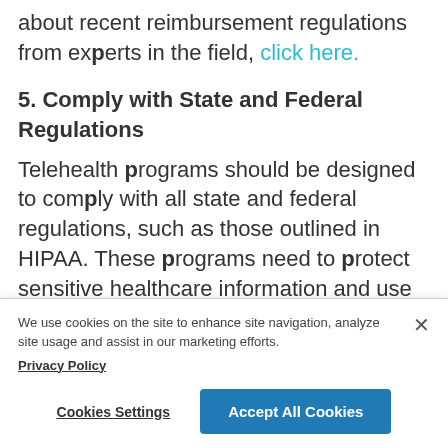about recent reimbursement regulations from experts in the field, click here.
5. Comply with State and Federal Regulations
Telehealth programs should be designed to comply with all state and federal regulations, such as those outlined in HIPAA. These programs need to protect sensitive healthcare information and use a
We use cookies on the site to enhance site navigation, analyze site usage and assist in our marketing efforts. Privacy Policy
Cookies Settings
Accept All Cookies